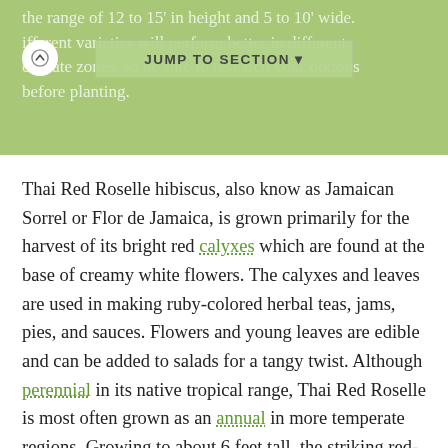the range of 12 to 15' in height and 5 to 10' wide. Different varieties will perform better in different climate zones, so be sure to research your options before planting.
JUMP TO SECTION
Thai Red Roselle hibiscus, also know as Jamaican Sorrel or Flor de Jamaica, is grown primarily for the harvest of its bright red calyxes which are found at the base of creamy white flowers. The calyxes and leaves are used in making ruby-colored herbal teas, jams, pies, and sauces. Flowers and young leaves are edible and can be added to salads for a tangy twist. Although perennial in its native tropical range, Thai Red Roselle is most often grown as an annual in more temperate regions. Growing to about 6 feet tall, the striking red-colored foliage and stems will provide beauty and contrast in your garden.